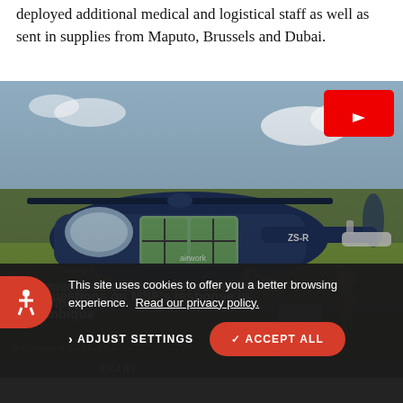deployed additional medical and logistical staff as well as sent in supplies from Maputo, Brussels and Dubai.
[Figure (photo): A helicopter on a grass airfield with cargo boxes being loaded. A person stands near the helicopter. A red YouTube play button overlay is in the top right corner.]
VIDEO
Five questions on MSF's response in Mozambique
MSF/PABLO BARRIGOS
SHARE
This site uses cookies to offer you a better browsing experience.  Read our privacy policy.
ADJUST SETTINGS
✓ ACCEPT ALL